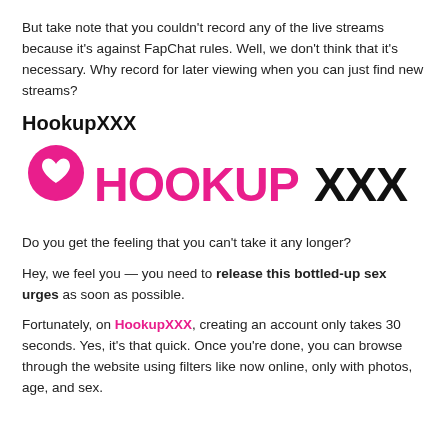But take note that you couldn't record any of the live streams because it's against FapChat rules. Well, we don't think that it's necessary. Why record for later viewing when you can just find new streams?
HookupXXX
[Figure (logo): HookupXXX logo: a pink speech bubble with a heart icon on the left, followed by 'HOOKUP' in bold pink letters and 'XXX' in bold black letters]
Do you get the feeling that you can't take it any longer?
Hey, we feel you — you need to release this bottled-up sex urges as soon as possible.
Fortunately, on HookupXXX, creating an account only takes 30 seconds. Yes, it's that quick. Once you're done, you can browse through the website using filters like now online, only with photos, age, and sex.